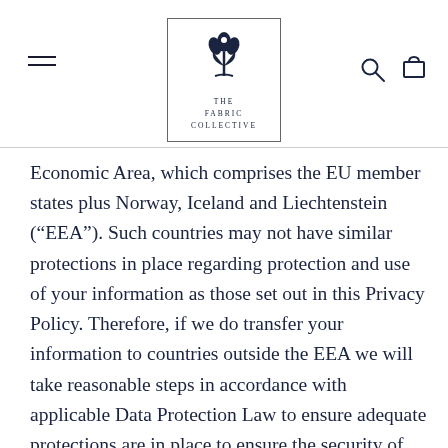THE FABRIC COLLECTIVE
Economic Area, which comprises the EU member states plus Norway, Iceland and Liechtenstein (“EEA”). Such countries may not have similar protections in place regarding protection and use of your information as those set out in this Privacy Policy. Therefore, if we do transfer your information to countries outside the EEA we will take reasonable steps in accordance with applicable Data Protection Law to ensure adequate protections are in place to ensure the security of your information. By submitting your information to us